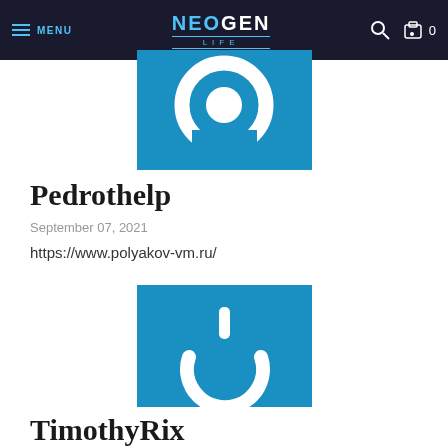MENU | NEOGEN LIFE | Search | Cart 0
[Figure (logo): Blue square thumbnail with white concentric ring/target logo icon]
Pedrothelp
September 07, 2021
https://www.polyakov-vm.ru/
[Figure (logo): Blue square thumbnail with white power button icon]
TimothyRix